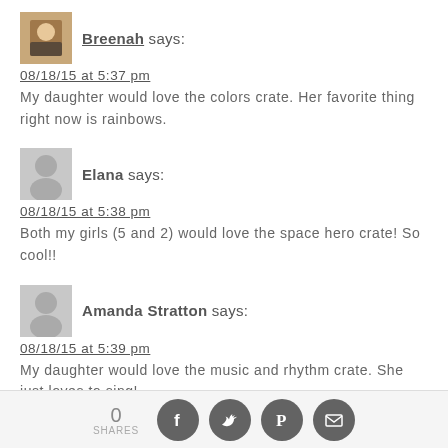Breenah says: 08/18/15 at 5:37 pm — My daughter would love the colors crate. Her favorite thing right now is rainbows.
Elana says: 08/18/15 at 5:38 pm — Both my girls (5 and 2) would love the space hero crate! So cool!!
Amanda Stratton says: 08/18/15 at 5:39 pm — My daughter would love the music and rhythm crate. She just loves to sing!
[Figure (infographic): Social share bar with 0 shares count and Facebook, Twitter, Pinterest, Email icons]